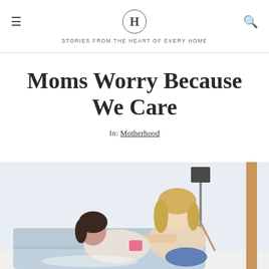H · STORIES FROM THE HEART OF EVERY HOME
Moms Worry Because We Care
In: Motherhood
[Figure (photo): A mother with blonde hair sitting on a couch with her young daughter, smiling at each other. The daughter is lying back against the mother. A tripod lamp is visible in the background.]